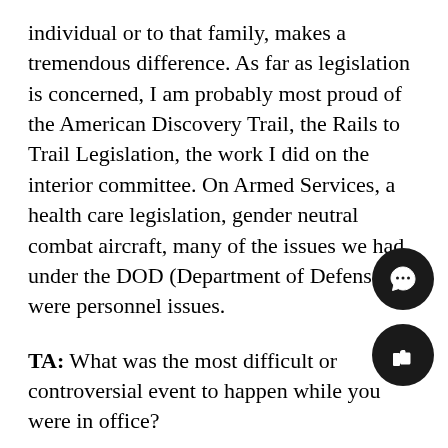individual or to that family, makes a tremendous difference. As far as legislation is concerned, I am probably most proud of the American Discovery Trail, the Rails to Trail Legislation, the work I did on the interior committee. On Armed Services, a health care legislation, gender neutral combat aircraft, many of the issues we had under the DOD (Department of Defense) were personnel issues.
TA: What was the most difficult or controversial event to happen while you were in office?
DM: The most difficult thing was 9/11. I was there that day. The events following that has to be the number one issue.
BB: I won't exactly say that there were difficult controversial things, we didn't have one major